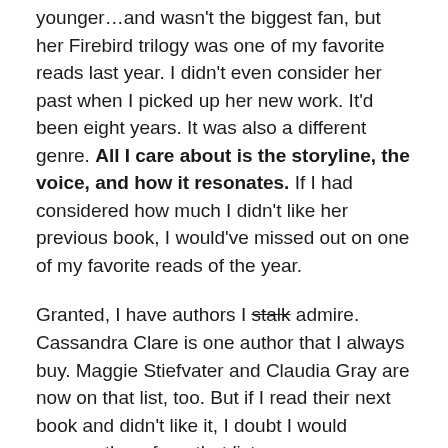younger…and wasn't the biggest fan, but her Firebird trilogy was one of my favorite reads last year. I didn't even consider her past when I picked up her new work. It'd been eight years. It was also a different genre. All I care about is the storyline, the voice, and how it resonates. If I had considered how much I didn't like her previous book, I would've missed out on one of my favorite reads of the year.
Granted, I have authors I stalk admire. Cassandra Clare is one author that I always buy. Maggie Stiefvater and Claudia Gray are now on that list, too. But if I read their next book and didn't like it, I doubt I would remove them from that list.
That being said, I understand not liking an author. I do. I would name a few I dislike, but personally, I like to focus on the positive…